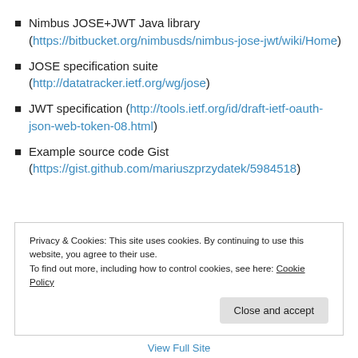Nimbus JOSE+JWT Java library (https://bitbucket.org/nimbusds/nimbus-jose-jwt/wiki/Home)
JOSE specification suite (http://datatracker.ietf.org/wg/jose)
JWT specification (http://tools.ietf.org/id/draft-ietf-oauth-json-web-token-08.html)
Example source code Gist (https://gist.github.com/mariuszprzydatek/5984518)
Privacy & Cookies: This site uses cookies. By continuing to use this website, you agree to their use. To find out more, including how to control cookies, see here: Cookie Policy
Close and accept
View Full Site